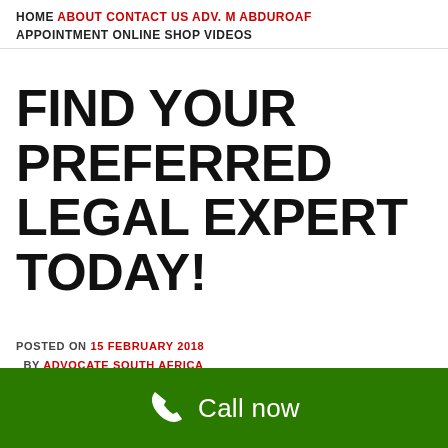HOME ABOUT CONTACT US ADV. M ABDUROAF APPOINTMENT ONLINE SHOP VIDEOS
FIND YOUR PREFERRED LEGAL EXPERT TODAY!
POSTED ON 15 FEBRUARY 2018 BY ADVOCATE SOUTH AFRICA
[Figure (other): Green call-to-action bar with phone icon and 'Call now' text]